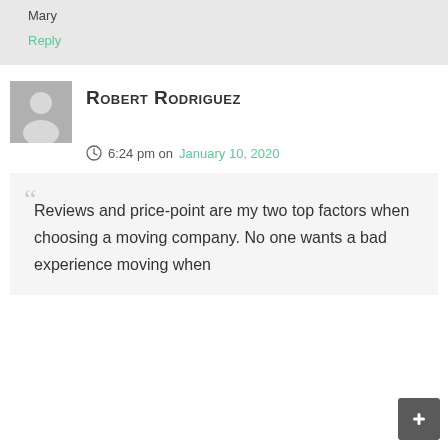Mary
Reply
Robert Rodriguez
6:24 pm on January 10, 2020
Reviews and price-point are my two top factors when choosing a moving company. No one wants a bad experience moving when